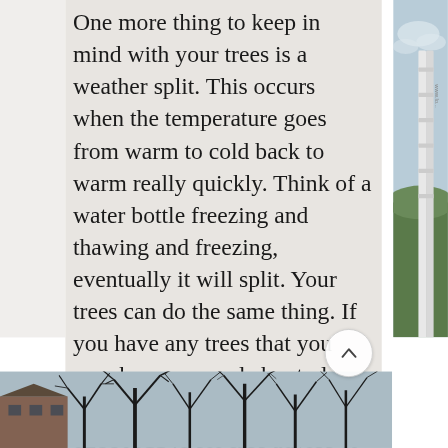One more thing to keep in mind with your trees is a weather split. This occurs when the temperature goes from warm to cold back to warm really quickly. Think of a water bottle freezing and thawing and freezing, eventually it will split. Your trees can do the same thing. If you have any trees that you may be concerned about please feel free to send us photos to 8288031148 for free advice or give us a call to set up a on site consultation
[Figure (photo): Bare winter tree branches silhouetted against a pale sky, with a brick building visible at lower left]
[Figure (photo): Partial view of a white ladder or sign structure against a sky background with green hills, on the right side of the page]